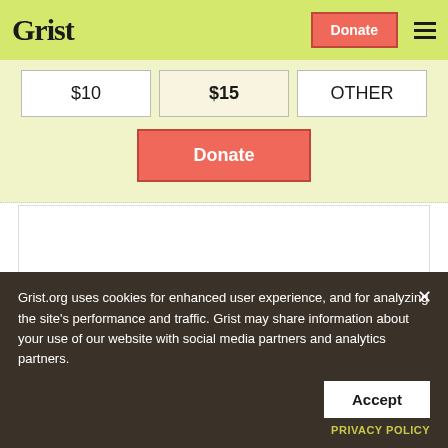Grist
[Figure (screenshot): Donation widget with $10, $15 selected, and OTHER buttons, plus a red Donate button]
But if the country is really going to zero out emissions by 2050 — as Biden has promised
Grist.org uses cookies for enhanced user experience, and for analyzing the site's performance and traffic. Grist may share information about your use of our website with social media partners and analytics partners.
Accept
PRIVACY POLICY